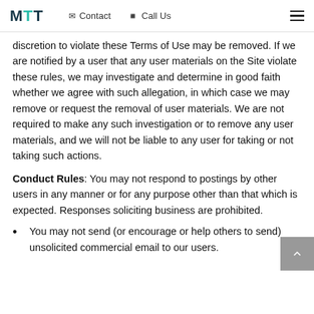MTT | Contact | Call Us
discretion to violate these Terms of Use may be removed. If we are notified by a user that any user materials on the Site violate these rules, we may investigate and determine in good faith whether we agree with such allegation, in which case we may remove or request the removal of user materials. We are not required to make any such investigation or to remove any user materials, and we will not be liable to any user for taking or not taking such actions.
Conduct Rules: You may not respond to postings by other users in any manner or for any purpose other than that which is expected. Responses soliciting business are prohibited.
You may not send (or encourage or help others to send) unsolicited commercial email to our users.